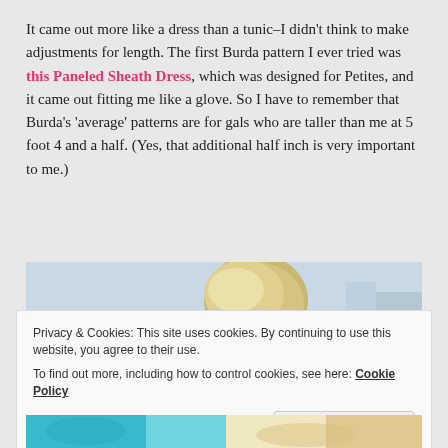It came out more like a dress than a tunic–I didn't think to make adjustments for length. The first Burda pattern I ever tried was this Paneled Sheath Dress, which was designed for Petites, and it came out fitting me like a glove. So I have to remember that Burda's 'average' patterns are for gals who are taller than me at 5 foot 4 and a half. (Yes, that additional half inch is very important to me.)
[Figure (photo): Partial view of a person with blonde/gray hair shown from behind, outdoor setting with blue/white background]
Privacy & Cookies: This site uses cookies. By continuing to use this website, you agree to their use.
To find out more, including how to control cookies, see here: Cookie Policy
Close and accept
[Figure (photo): Partial view of colorful fabric or clothing at the bottom of the page]